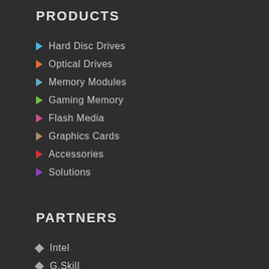PRODUCTS
Hard Disc Drives
Optical Drives
Memory Modules
Gaming Memory
Flash Media
Graphics Cards
Accessories
Solutions
PARTNERS
Intel
G.Skill
Matrox
Lexar